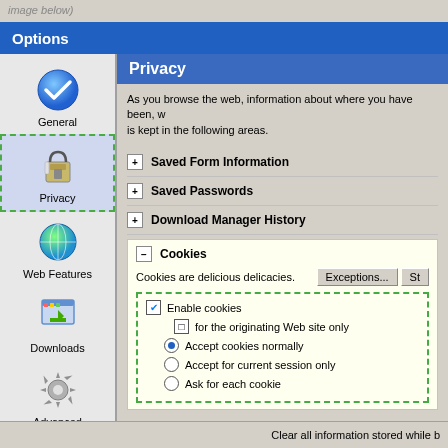image below)
Options
[Figure (screenshot): Browser Options dialog showing Privacy panel with navigation sidebar containing General, Privacy (selected), Web Features, Downloads, Advanced icons, and main content area showing Privacy settings with Saved Form Information, Saved Passwords, Download Manager History sections, and expanded Cookies section with enable/accept options]
Privacy
As you browse the web, information about where you have been, w is kept in the following areas.
Saved Form Information
Saved Passwords
Download Manager History
Cookies
Cookies are delicious delicacies.
Enable cookies
for the originating Web site only
Accept cookies normally
Accept for current session only
Ask for each cookie
Clear all information stored while b